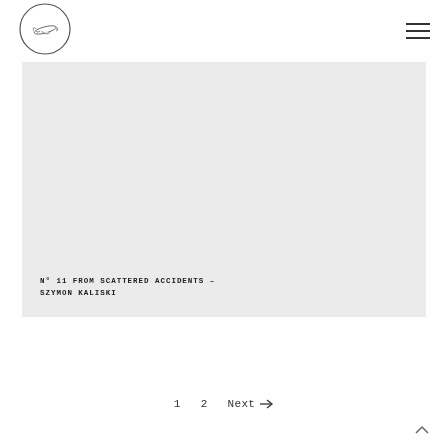[Figure (logo): Circular logo with an airplane illustration inside a circle border]
[Figure (illustration): Gray rectangular placeholder image area with text caption at bottom left]
N° 11 FROM SCATTERED ACCIDENTS – SZYMON KALISKI
1   2   Next →